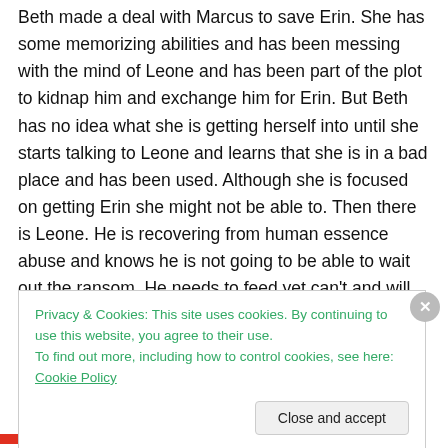Beth made a deal with Marcus to save Erin. She has some memorizing abilities and has been messing with the mind of Leone and has been part of the plot to kidnap him and exchange him for Erin. But Beth has no idea what she is getting herself into until she starts talking to Leone and learns that she is in a bad place and has been used. Although she is focused on getting Erin she might not be able to. Then there is Leone. He is recovering from human essence abuse and knows he is not going to be able to wait out the ransom. He needs to feed yet can't and will be stuck with Beth.
Privacy & Cookies: This site uses cookies. By continuing to use this website, you agree to their use.
To find out more, including how to control cookies, see here: Cookie Policy